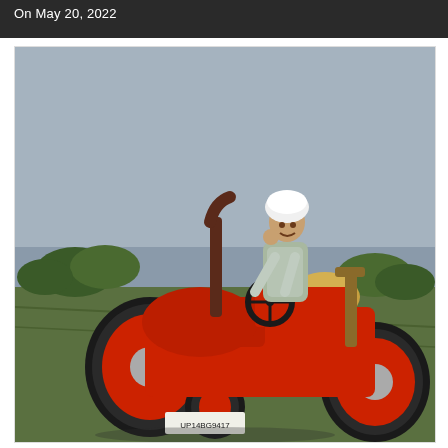On May 20, 2022
[Figure (photo): A farmer wearing a white turban and light-colored shirt sitting on a red tractor in an agricultural field. The tractor has a license plate partially visible. Background shows trees and open farmland under a hazy sky.]